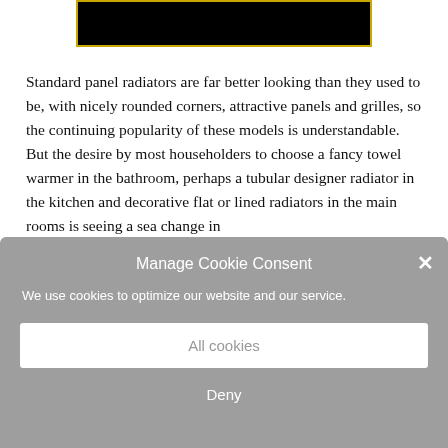[Figure (photo): Black image block with gold/yellow border at top of page]
Standard panel radiators are far better looking than they used to be, with nicely rounded corners, attractive panels and grilles, so the continuing popularity of these models is understandable. But the desire by most householders to choose a fancy towel warmer in the bathroom, perhaps a tubular designer radiator in the kitchen and decorative flat or lined radiators in the main rooms is seeing a sea change in
Manage Cookie Consent
We use cookies to optimize our website and our service.
All cookies
Deny